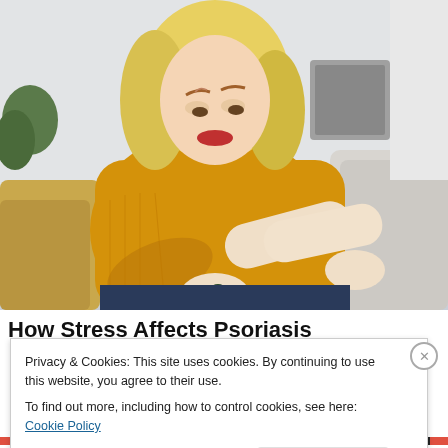[Figure (photo): A blonde woman in a yellow knit sweater sitting on a sofa, looking at and examining her arm/elbow, suggesting skin irritation or psoriasis.]
How Stress Affects Psoriasis
Privacy & Cookies: This site uses cookies. By continuing to use this website, you agree to their use.
To find out more, including how to control cookies, see here: Cookie Policy
Close and accept